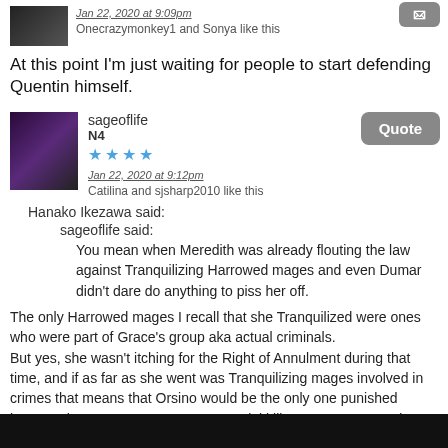Jan 22, 2020 at 9:09pm
Onecrazymonkey1 and Sonya like this
At this point I'm just waiting for people to start defending Quentin himself.
sageoflife
N4
Jan 22, 2020 at 9:12pm
Catilina and sjsharp2010 like this
Hanako Ikezawa said:
sageoflife said:
You mean when Meredith was already flouting the law against Tranquilizing Harrowed mages and even Dumar didn't dare do anything to piss her off.
The only Harrowed mages I recall that she Tranquilized were ones who were part of Grace's group aka actual criminals.
But yes, she wasn't itching for the Right of Annulment during that time, and if as far as she went was Tranquilizing mages involved in crimes that means that Orsino would be the only one punished because he was an accessory to a serial killer. So geez, I wonder why he didn't help. Probably because like I said he cares only about